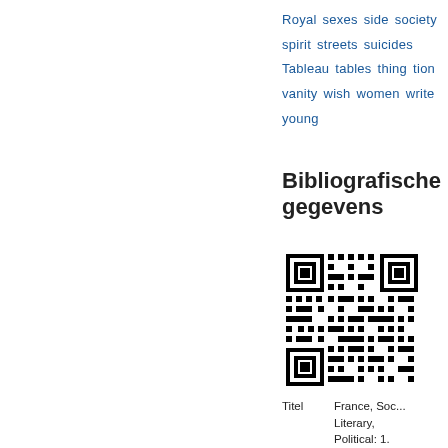Royal sexes side society spirit streets suicides Tableau tables thing tion vanity wish women write young
Bibliografische gegevens
[Figure (other): QR code for bibliographic information]
Titel   France, Soc... Literary, Political: 1.